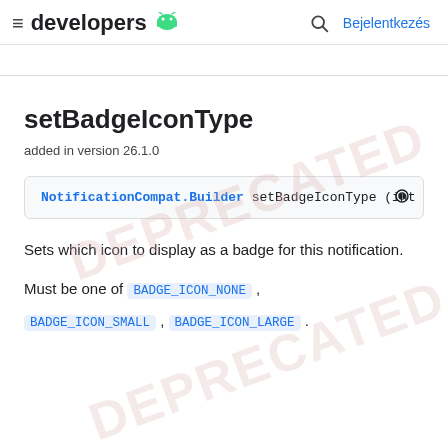≡ developers 🤖  🔍 Bejelentkezés
setBadgeIconType
added in version 26.1.0
NotificationCompat.Builder setBadgeIconType (int ico
Sets which icon to display as a badge for this notification.
Must be one of BADGE_ICON_NONE , BADGE_ICON_SMALL , BADGE_ICON_LARGE .